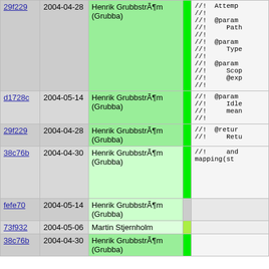| Hash | Date | Author |  | Code |
| --- | --- | --- | --- | --- |
| 29f229 | 2004-04-28 | Henrik GrubbstrÃ¶m (Grubba) |  | //! Attemp
//!
//!  @param
//!    Path
//!
//!  @param
//!    Type
//!
//!  @param
//!    Scop
//!    @exp
//! |
| d1728c | 2004-05-14 | Henrik GrubbstrÃ¶m (Grubba) |  | //!  @param
//!    Idle
//!    mean
//! |
| 29f229 | 2004-04-28 | Henrik GrubbstrÃ¶m (Grubba) |  | //!  @retur
//!    Retu |
| 38c76b | 2004-04-30 | Henrik GrubbstrÃ¶m (Grubba) |  | //!    and 
mapping(st |
| fefe70 | 2004-05-14 | Henrik GrubbstrÃ¶m (Grubba) |  |  |
| 73f932 | 2004-05-06 | Martin Stjernholm |  |  |
| 38c76b | 2004-04-30 | Henrik GrubbstrÃ¶m (Grubba) |  |  |